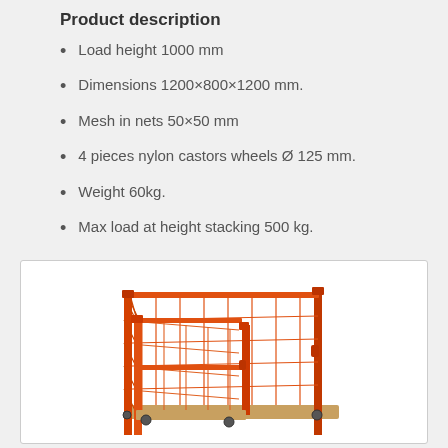Product description
Load height 1000 mm
Dimensions 1200×800×1200 mm.
Mesh in nets 50×50 mm
4 pieces nylon castors wheels Ø 125 mm.
Weight 60kg.
Max load at height stacking 500 kg.
[Figure (photo): Orange metal mesh cage/pallet container with wire grid walls and wooden base, shown in 3/4 perspective view. The cage has vertical corner posts and horizontal rails with nylon castor wheels at the base.]